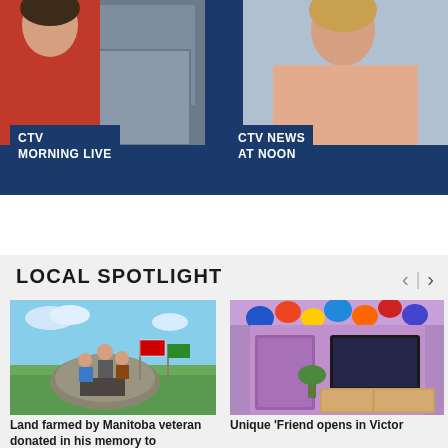[Figure (photo): CTV Morning Live promotional banner with two news anchors on dark blue background. Left: person in red jacket. Right: person in pink/salmon blazer.]
CTV
MORNING LIVE
CTV NEWS
AT NOON
LOCAL SPOTLIGHT
[Figure (photo): People sitting on a large rock with flags in a prairie landscape under blue sky. A commemorative plaque is on the rock.]
[Figure (photo): Room with purple walls, colorful balloons on ceiling, television mounted on wall, and wooden furniture.]
Land farmed by Manitoba veteran donated in his memory to
Unique 'Friend opens in Victor